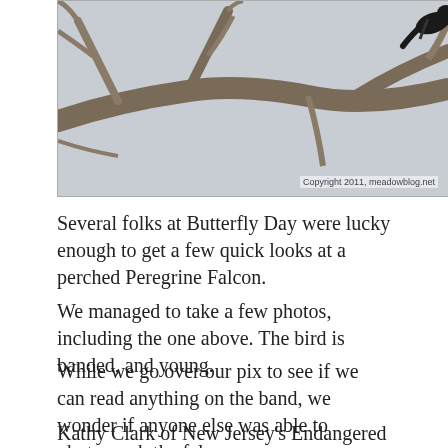[Figure (photo): Black and white photo of a Peregrine Falcon perched on bare tree branches against a light grey sky. Copyright 2011, meadowblog.net watermark in lower right.]
Several folks at Butterfly Day were lucky enough to get a few quick looks at a perched Peregrine Falcon.
We managed to take a few photos, including the one above. The bird is banded, and young.
While we go over our pix to see if we can read anything on the band, we wonder if anyone else was able to photograph the falcon.
Kathy Clark of New Jersey's Endangered and Threatened Species Program writes: "All the states are banding using the same protocol, and Eastern US...